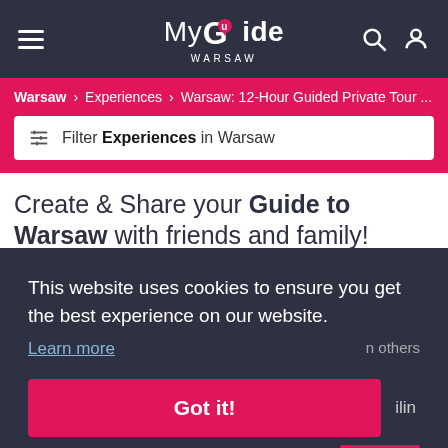My Guide Warsaw
Warsaw > Experiences > Warsaw: 12-Hour Guided Private Tour ...
Filter Experiences in Warsaw
Create & Share your Guide to Warsaw with friends and family!
This website uses cookies to ensure you get the best experience on our website.
Learn more
Got it!